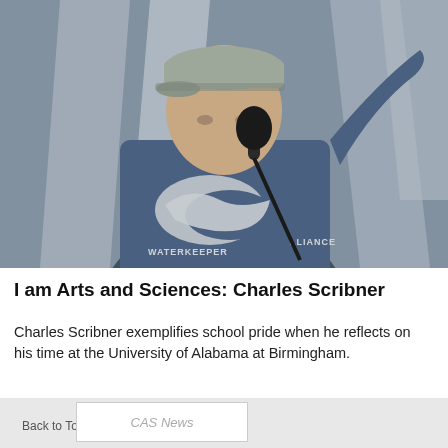[Figure (photo): A man wearing a blue Waterkeeper Alliance t-shirt and a beige baseball cap, speaking into a microphone at an outdoor event. He is gesturing with his right arm raised. The background shows architectural elements.]
I am Arts and Sciences: Charles Scribner
Charles Scribner exemplifies school pride when he reflects on his time at the University of Alabama at Birmingham.
CAS News
Back to Top